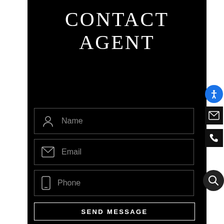CONTACT AGENT
Name
Email
Phone
SEND MESSAGE